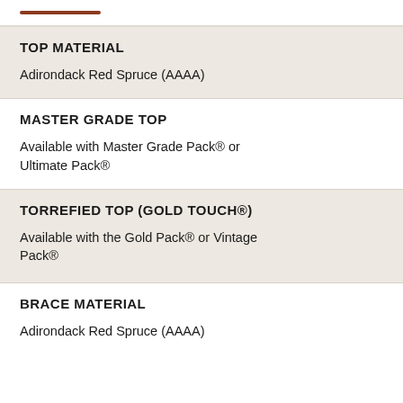TOP MATERIAL
Adirondack Red Spruce (AAAA)
MASTER GRADE TOP
Available with Master Grade Pack® or Ultimate Pack®
TORREFIED TOP (GOLD TOUCH®)
Available with the Gold Pack® or Vintage Pack®
BRACE MATERIAL
Adirondack Red Spruce (AAAA)